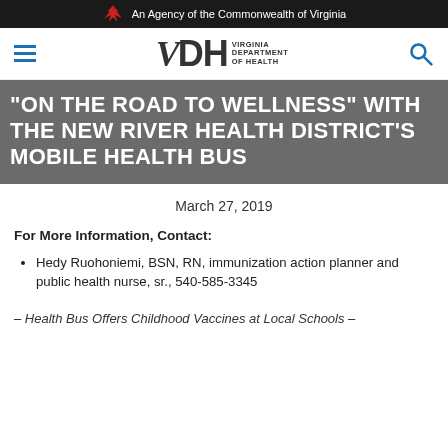An Agency of the Commonwealth of Virginia
[Figure (logo): VDH Virginia Department of Health logo with hamburger menu and search icon]
“ON THE ROAD TO WELLNESS” WITH THE NEW RIVER HEALTH DISTRICT’S MOBILE HEALTH BUS
March 27, 2019
For More Information, Contact:
Hedy Ruohoniemi, BSN, RN, immunization action planner and public health nurse, sr., 540-585-3345
– Health Bus Offers Childhood Vaccines at Local Schools –